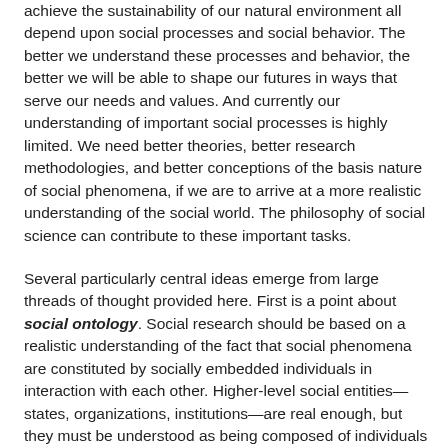achieve the sustainability of our natural environment all depend upon social processes and social behavior. The better we understand these processes and behavior, the better we will be able to shape our futures in ways that serve our needs and values. And currently our understanding of important social processes is highly limited. We need better theories, better research methodologies, and better conceptions of the basis nature of social phenomena, if we are to arrive at a more realistic understanding of the social world. The philosophy of social science can contribute to these important tasks.
Several particularly central ideas emerge from large threads of thought provided here. First is a point about social ontology. Social research should be based on a realistic understanding of the fact that social phenomena are constituted by socially embedded individuals in interaction with each other. Higher-level social entities—states, organizations, institutions—are real enough, but they must be understood as being composed of individuals in interaction. So social science must avoid the error of reification—the assumption that social entities have some